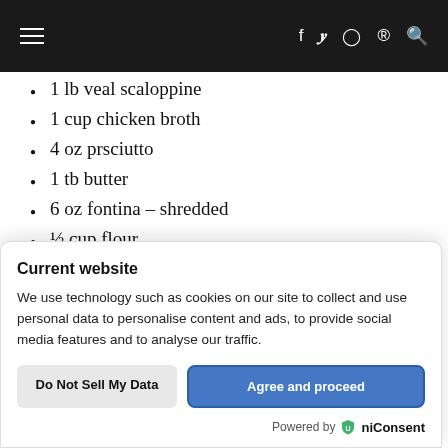≡  f  ✗  ⊙  ⊕  🔍
1 lb veal scaloppine
1 cup chicken broth
4 oz prsciutto
1 tb butter
6 oz fontina – shredded
½ cup flour
2-3 oz white wine
Current website
We use technology such as cookies on our site to collect and use personal data to personalise content and ads, to provide social media features and to analyse our traffic.
Do Not Sell My Data | Agree and proceed
Powered by 🛡niConsent